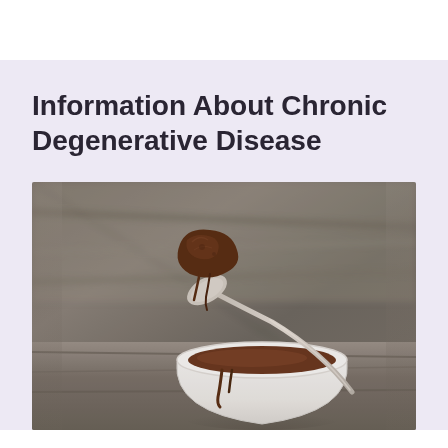Information About Chronic Degenerative Disease
[Figure (photo): A spoon lifting a piece of dark chocolate brownie or fudge over a white ceramic bowl containing chocolate dessert, placed on a wooden surface.]